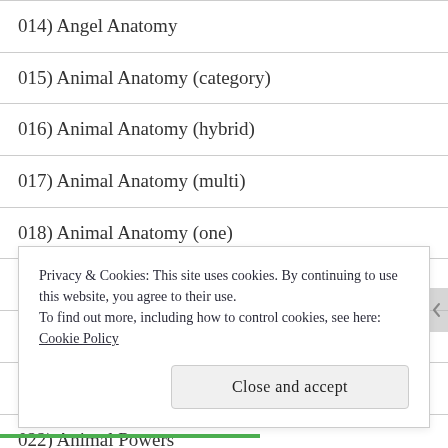014) Angel Anatomy
015) Animal Anatomy (category)
016) Animal Anatomy (hybrid)
017) Animal Anatomy (multi)
018) Animal Anatomy (one)
019) Animal Communication
020) Animal Perception
021) Animal Possession
022) Animal Powers
Privacy & Cookies: This site uses cookies. By continuing to use this website, you agree to their use.
To find out more, including how to control cookies, see here: Cookie Policy
Close and accept